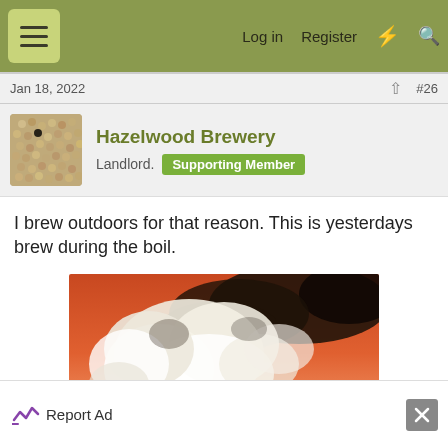Log in  Register
Jan 18, 2022  #26
Hazelwood Brewery
Landlord.  Supporting Member
I brew outdoors for that reason. This is yesterdays brew during the boil.
[Figure (photo): Outdoor brew kettle during boil with steam rising against an orange/red sky, wooden structure visible below]
Report Ad